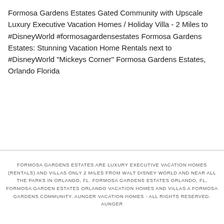Formosa Gardens Estates Gated Community with Upscale Luxury Executive Vacation Homes / Holiday Villa - 2 Miles to #DisneyWorld #formosagardensestates Formosa Gardens Estates: Stunning Vacation Home Rentals next to #DisneyWorld "Mickeys Corner" Formosa Gardens Estates, Orlando Florida
FORMOSA GARDENS ESTATES ARE LUXURY EXECUTIVE VACATION HOMES (RENTALS) AND VILLAS ONLY 2 MILES FROM WALT DISNEY WORLD AND NEAR ALL THE PARKS IN ORLANDO, FL. FORMOSA GARDENS ESTATES ORLANDO, FL, FORMOSA GARDEN ESTATES ORLANDO VACATION HOMES AND VILLAS A FORMOSA GARDENS COMMUNITY. AUNGER VACATION HOMES - ALL RIGHTS RESERVED. AUNGER